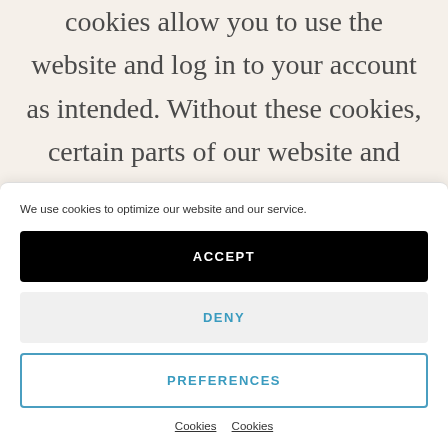cookies allow you to use the website and log in to your account as intended. Without these cookies, certain parts of our website and services will not function properly. We also use cookies to direct you to the right site based on geography
We use cookies to optimize our website and our service.
[Figure (screenshot): Cookie consent banner with ACCEPT button (black), DENY button (light gray), PREFERENCES button (white with blue border), and two underlined 'Cookies' links at the bottom.]